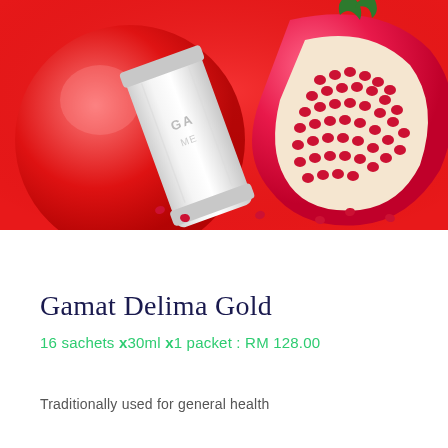[Figure (photo): Product photo on red background: a white sachet/packet leaning against a halved pomegranate with seeds, on a vivid red surface with scattered pomegranate seeds. Text 'GA' and 'ME' partially visible on top of image.]
Gamat Delima Gold
16 sachets x30ml x1 packet : RM 128.00
Traditionally used for general health